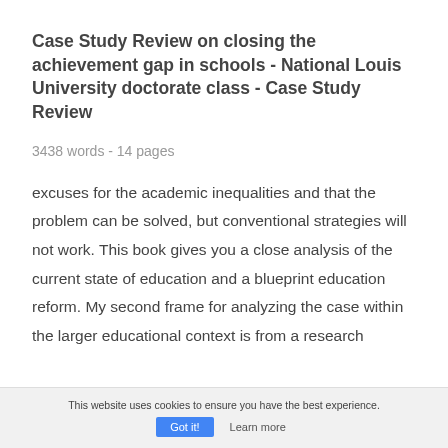Case Study Review on closing the achievement gap in schools - National Louis University doctorate class - Case Study Review
3438 words - 14 pages
excuses for the academic inequalities and that the problem can be solved, but conventional strategies will not work. This book gives you a close analysis of the current state of education and a blueprint education reform. My second frame for analyzing the case within the larger educational context is from a research
This website uses cookies to ensure you have the best experience. Got it! Learn more